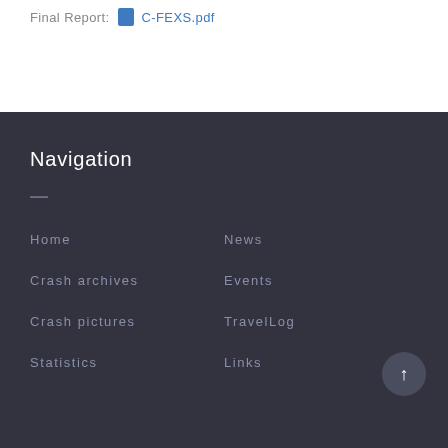Final Report:  C-FEXS.pdf
Navigation
—
Home
Crash archives
Crash pictures
Statistics
News
Events
TravelLog
Links